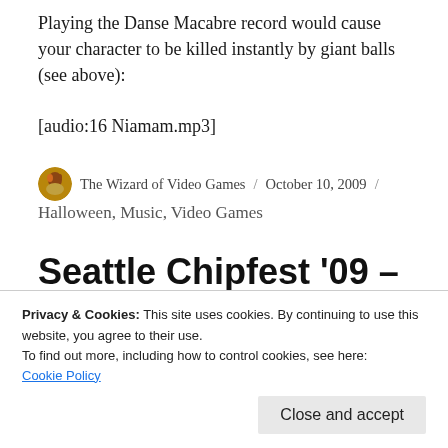Playing the Danse Macabre record would cause your character to be killed instantly by giant balls (see above):
[audio:16 Niamam.mp3]
The Wizard of Video Games / October 10, 2009 / Halloween, Music, Video Games
Seattle Chipfest '09 – The Movie(s)
Privacy & Cookies: This site uses cookies. By continuing to use this website, you agree to their use. To find out more, including how to control cookies, see here: Cookie Policy
the last minute. I learned that Cinematic